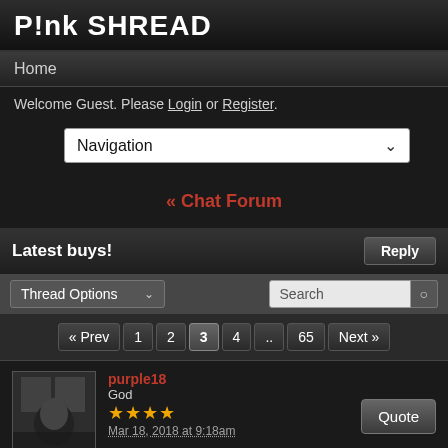P!nk SHREAD
Home
Welcome Guest. Please Login or Register.
Navigation (dropdown)
« Chat Forum
Latest buys!
Thread Options (dropdown) | Search
« Prev  1  2  3  4  ..  65  Next »
purple18
God
★★★★
Mar 18, 2018 at 9:18am
kathytrydis said: